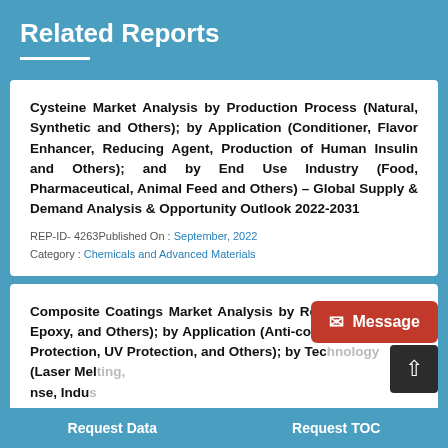Related Reports
Cysteine Market Analysis by Production Process (Natural, Synthetic and Others); by Application (Conditioner, Flavor Enhancer, Reducing Agent, Production of Human Insulin and Others); and by End Use Industry (Food, Pharmaceutical, Animal Feed and Others) – Global Supply & Demand Analysis & Opportunity Outlook 2022-2031
REP-ID- 4263 Published On : September, 2022
Category : Chemicals and Advanced Materials
Composite Coatings Market Analysis by Resin (Polyamide, Epoxy, and Others); by Application (Anti-corrosion, Thermal Protection, UV Protection, and Others); by Technology (Laser Melting, Thermal Spray, and Others); by End Use Industry (Indu...
Request Data    Request TOC